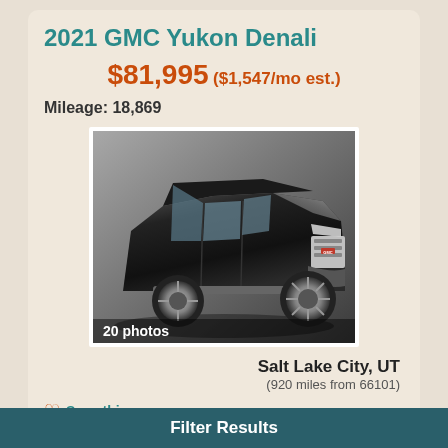2021 GMC Yukon Denali
$81,995 ($1,547/mo est.)
Mileage: 18,869
[Figure (photo): Black 2021 GMC Yukon Denali SUV front 3/4 view in a showroom, with chrome grille and large alloy wheels. Badge reads '20 photos' at bottom left.]
Salt Lake City, UT
(920 miles from 66101)
Save this car
Call
Email
Filter Results